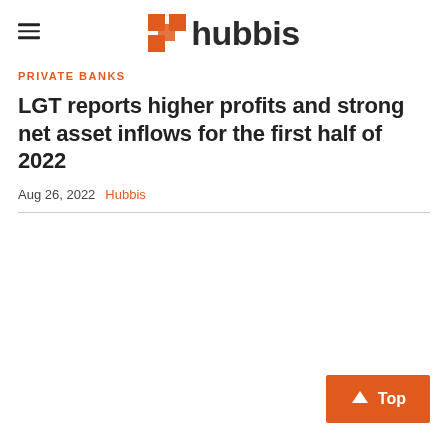hubbis
PRIVATE BANKS
LGT reports higher profits and strong net asset inflows for the first half of 2022
Aug 26, 2022  Hubbis
[Figure (other): Top navigation button with orange background and upward arrow]